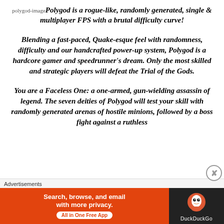[polygod-image] Polygod is a rogue-like, randomly generated, single & multiplayer FPS with a brutal difficulty curve!
Blending a fast-paced, Quake-esque feel with randomness, difficulty and our handcrafted power-up system, Polygod is a hardcore gamer and speedrunner's dream. Only the most skilled and strategic players will defeat the Trial of the Gods.
You are a Faceless One: a one-armed, gun-wielding assassin of legend. The seven deities of Polygod will test your skill with randomly generated arenas of hostile minions, followed by a boss fight against a ruthless
Advertisements
[Figure (infographic): DuckDuckGo advertisement banner: orange left section with text 'Search, browse, and email with more privacy. All in One Free App' and dark right section with DuckDuckGo duck logo and DuckDuckGo text]